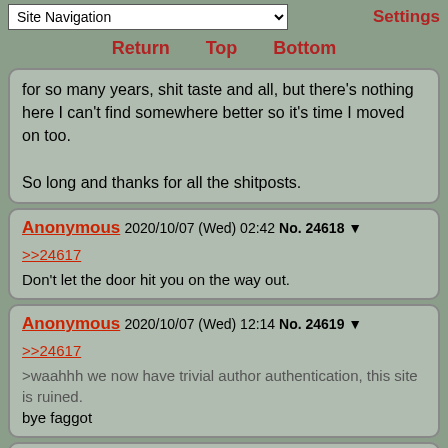Site Navigation | Settings
Return  Top  Bottom
for so many years, shit taste and all, but there's nothing here I can't find somewhere better so it's time I moved on too.

So long and thanks for all the shitposts.
Anonymous 2020/10/07 (Wed) 02:42 No. 24618 ▼
>>24617
Don't let the door hit you on the way out.
Anonymous 2020/10/07 (Wed) 12:14 No. 24619 ▼
>>24617
>waahhh we now have trivial author authentication, this site is ruined.
bye faggot